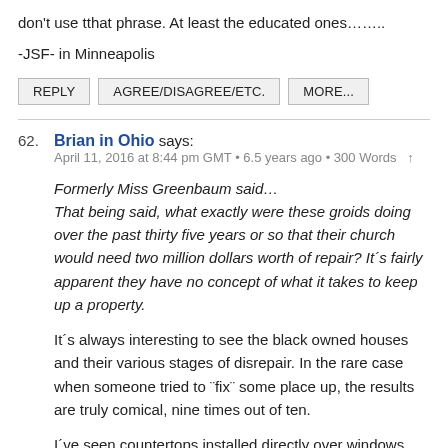don't use tthat phrase. At least the educated ones……..
-JSF- in Minneapolis
REPLY | AGREE/DISAGREE/ETC. | MORE...
62. Brian in Ohio says:
April 11, 2016 at 8:44 pm GMT • 6.5 years ago • 300 Words ↑
Formerly Miss Greenbaum said… That being said, what exactly were these groids doing over the past thirty five years or so that their church would need two million dollars worth of repair? It´s fairly apparent they have no concept of what it takes to keep up a property.
It´s always interesting to see the black owned houses and their various stages of disrepair. In the rare case when someone tried to ¨fix¨ some place up, the results are truly comical, nine times out of ten.
I´ve seen countertops installed directly over windows, blocking